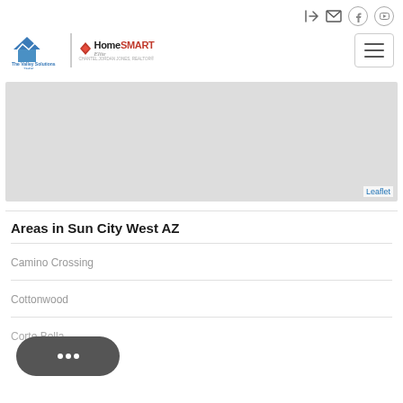[Figure (logo): The Valley Solutions Team and HomeSmart Elite Group logo]
[Figure (map): Gray map placeholder showing Sun City West AZ area with Leaflet attribution]
Areas in Sun City West AZ
Camino Crossing
Cottonwood
Corte Bella